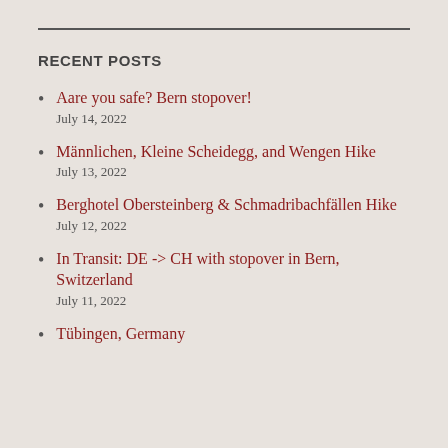RECENT POSTS
Aare you safe? Bern stopover!
July 14, 2022
Männlichen, Kleine Scheidegg, and Wengen Hike
July 13, 2022
Berghotel Obersteinberg & Schmadribachfällen Hike
July 12, 2022
In Transit: DE -> CH with stopover in Bern, Switzerland
July 11, 2022
Tübingen, Germany